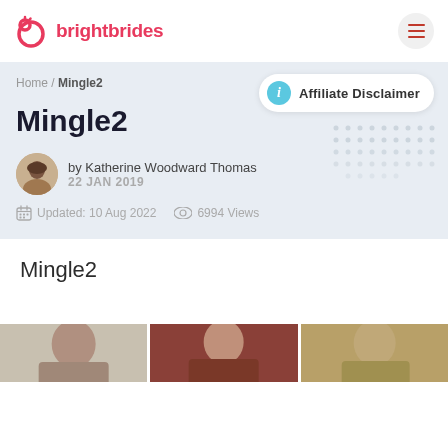brightbrides
Home / Mingle2
Affiliate Disclaimer
Mingle2
by Katherine Woodward Thomas
22 JAN 2019
Updated: 10 Aug 2022   6994 Views
Mingle2
[Figure (photo): Three cropped photos of women at the bottom of the page]